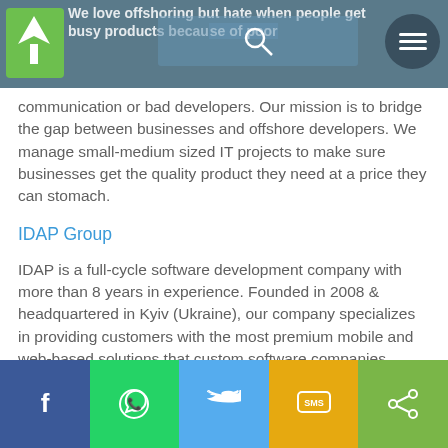We love offshoring but hate when people get busy products because of poor communication or bad developers.
Our mission is to bridge the gap between businesses and offshore developers. We manage small-medium sized IT projects to make sure businesses get the quality product they need at a price they can stomach.
IDAP Group
IDAP is a full-cycle software development company with more than 8 years in experience. Founded in 2008 & headquartered in Kyiv (Ukraine), our company specializes in providing customers with the most premium mobile and web-based solutions that custom software companies
Facebook | WhatsApp | Twitter | SMS | Share